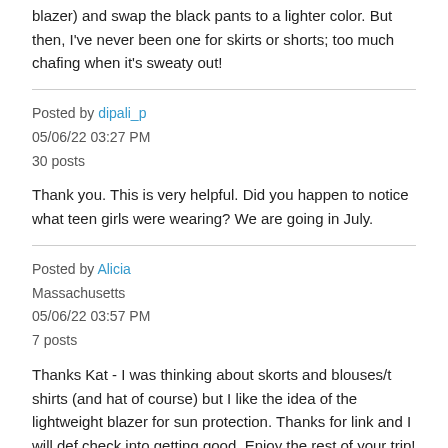blazer) and swap the black pants to a lighter color. But then, I've never been one for skirts or shorts; too much chafing when it's sweaty out!
Posted by dipali_p
05/06/22 03:27 PM
30 posts
Thank you. This is very helpful. Did you happen to notice what teen girls were wearing? We are going in July.
Posted by Alicia
Massachusetts
05/06/22 03:57 PM
7 posts
Thanks Kat - I was thinking about skorts and blouses/t shirts (and hat of course) but I like the idea of the lightweight blazer for sun protection. Thanks for link and I will def check into getting good. Enjoy the rest of your trip!